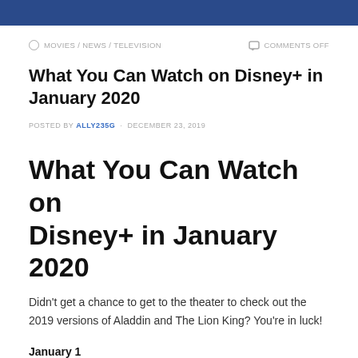MOVIES / NEWS / TELEVISION    COMMENTS OFF
What You Can Watch on Disney+ in January 2020
POSTED BY ALLY235G · DECEMBER 23, 2019
What You Can Watch on Disney+ in January 2020
Didn't get a chance to get to the theater to check out the 2019 versions of Aladdin and The Lion King? You're in luck!
January 1
America's National Parks (Season 1)